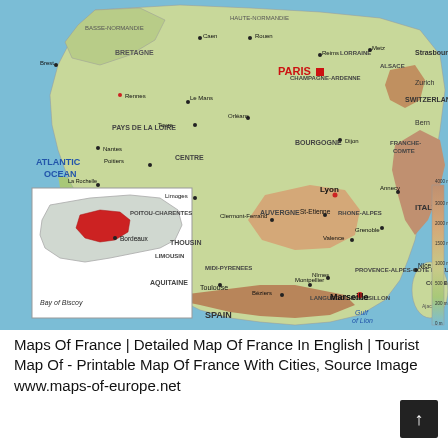[Figure (map): Detailed physical/political map of France in English showing regions, cities, rivers, elevation, neighboring countries (Spain, Switzerland, Italy), Atlantic Ocean, Bay of Biscay, Gulf of Lion, Corsica island, with Paris marked prominently and an inset map of France's location in Europe. Elevation legend on right side. Major cities labeled include Paris, Marseille, Lyon, Bordeaux, Toulouse, Nice, Nantes, Strasbourg, and many others.]
Maps Of France | Detailed Map Of France In English | Tourist Map Of - Printable Map Of France With Cities, Source Image www.maps-of-europe.net